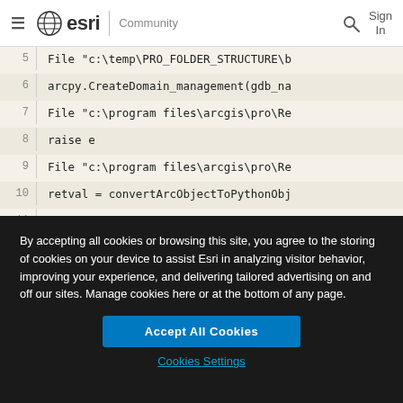≡ esri | Community  🔍  Sign In
[Figure (screenshot): Code block showing Python traceback lines numbered 5-11 with file paths and arcpy commands on a tan/beige background]
By accepting all cookies or browsing this site, you agree to the storing of cookies on your device to assist Esri in analyzing visitor behavior, improving your experience, and delivering tailored advertising on and off our sites. Manage cookies here or at the bottom of any page.
Accept All Cookies
Cookies Settings